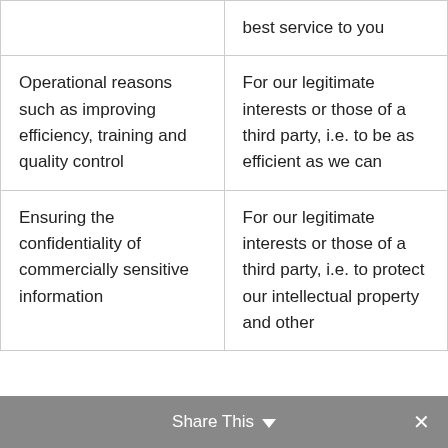|  | best service to you |
| Operational reasons such as improving efficiency, training and quality control | For our legitimate interests or those of a third party, i.e. to be as efficient as we can |
| Ensuring the confidentiality of commercially sensitive information | For our legitimate interests or those of a third party, i.e. to protect our intellectual property and other |
Share This ▼  ✕